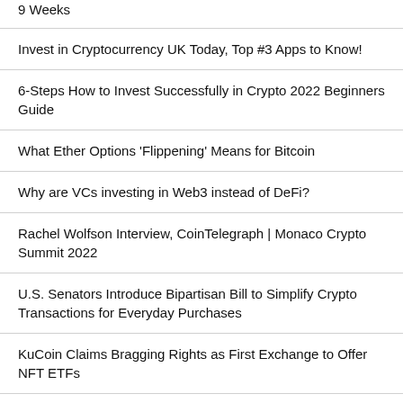9 Weeks
Invest in Cryptocurrency UK Today, Top #3 Apps to Know!
6-Steps How to Invest Successfully in Crypto 2022 Beginners Guide
What Ether Options 'Flippening' Means for Bitcoin
Why are VCs investing in Web3 instead of DeFi?
Rachel Wolfson Interview, CoinTelegraph | Monaco Crypto Summit 2022
U.S. Senators Introduce Bipartisan Bill to Simplify Crypto Transactions for Everyday Purchases
KuCoin Claims Bragging Rights as First Exchange to Offer NFT ETFs
Miami Mayor on Crypto Market Downturn, New Initiative to Launch 5,000 ETH NFTs